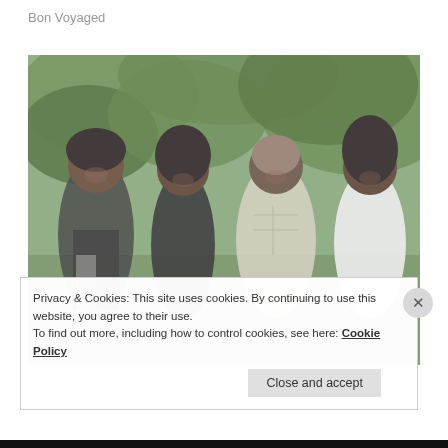Bon Voyaged
[Figure (photo): Family photo of four people posing together outdoors with green trees in the background. Two women on the left, a man in the center-right, and another woman on the far right. They are smiling and standing close together.]
Privacy & Cookies: This site uses cookies. By continuing to use this website, you agree to their use.
To find out more, including how to control cookies, see here: Cookie Policy
Close and accept